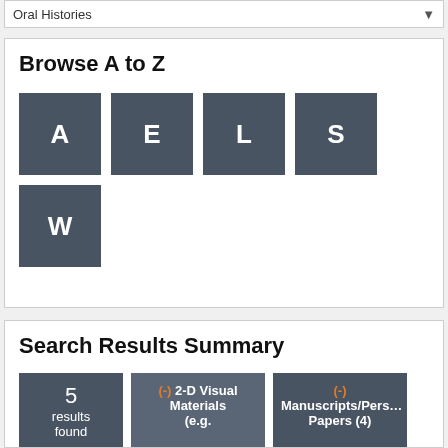Oral Histories
Browse A to Z
[Figure (other): A to Z browse letter tiles: A, E, L, S, W]
Search Results Summary
5 results found
(-) 2-D Visual Materials (e.g.
(-) Manuscripts/Personal Papers (4)